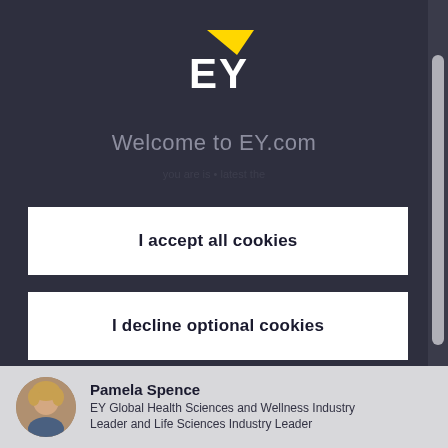[Figure (logo): EY logo — yellow triangle/arrow above white 'EY' lettering on dark background]
Welcome to EY.com
I accept all cookies
I decline optional cookies
Customize cookies
Pamela Spence
EY Global Health Sciences and Wellness Industry Leader and Life Sciences Industry Leader